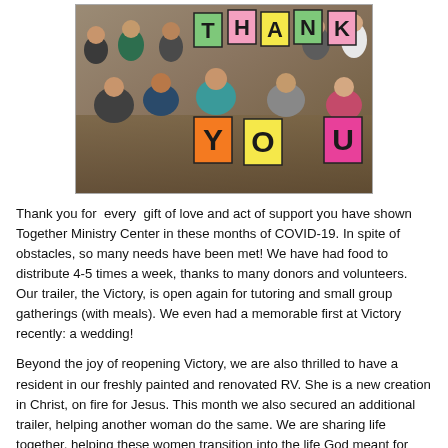[Figure (photo): Group photo of children and adults holding up colored letter cards spelling THANK YOU]
Thank you for every gift of love and act of support you have shown Together Ministry Center in these months of COVID-19. In spite of obstacles, so many needs have been met! We have had food to distribute 4-5 times a week, thanks to many donors and volunteers. Our trailer, the Victory, is open again for tutoring and small group gatherings (with meals). We even had a memorable first at Victory recently: a wedding!
Beyond the joy of reopening Victory, we are also thrilled to have a resident in our freshly painted and renovated RV. She is a new creation in Christ, on fire for Jesus. This month we also secured an additional trailer, helping another woman do the same. We are sharing life together, helping these women transition into the life God meant for